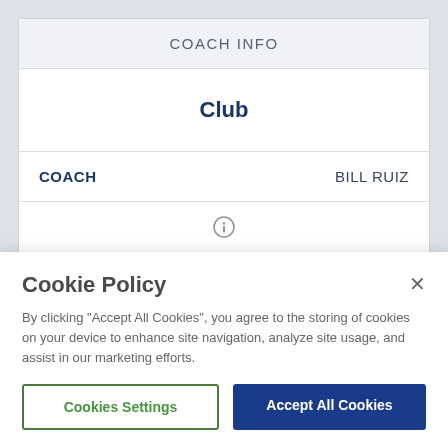COACH INFO
Club
| COACH | BILL RUIZ |
| --- | --- |
[Figure (other): Info icon circle]
[Figure (other): Info icon circle]
Cookie Policy
By clicking "Accept All Cookies", you agree to the storing of cookies on your device to enhance site navigation, analyze site usage, and assist in our marketing efforts.
Cookies Settings
Accept All Cookies